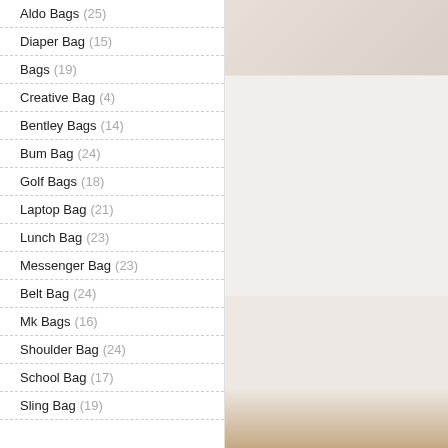Aldo Bags (25)
Diaper Bag (15)
Bags (19)
Creative Bag (4)
Bentley Bags (14)
Bum Bag (24)
Golf Bags (18)
Laptop Bag (21)
Lunch Bag (23)
Messenger Bag (23)
Belt Bag (24)
Mk Bags (16)
Shoulder Bag (24)
School Bag (17)
Sling Bag (19)
[Figure (photo): Product photo of a bag, partially visible on the right side of the page]